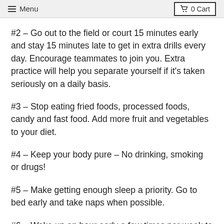Menu  0 Cart
#2 – Go out to the field or court 15 minutes early and stay 15 minutes late to get in extra drills every day. Encourage teammates to join you. Extra practice will help you separate yourself if it's taken seriously on a daily basis.
#3 – Stop eating fried foods, processed foods, candy and fast food. Add more fruit and vegetables to your diet.
#4 – Keep your body pure – No drinking, smoking or drugs!
#5 – Make getting enough sleep a priority. Go to bed early and take naps when possible.
#6 – Wake up an hour early a few times per week to